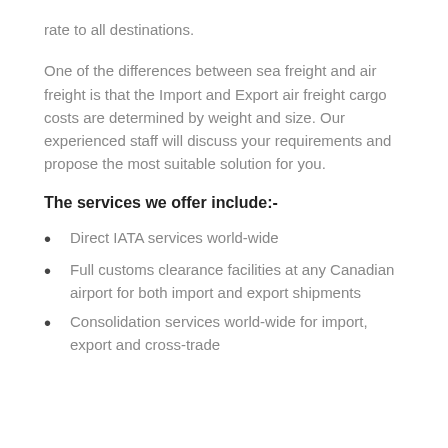rate to all destinations.
One of the differences between sea freight and air freight is that the Import and Export air freight cargo costs are determined by weight and size. Our experienced staff will discuss your requirements and propose the most suitable solution for you.
The services we offer include:-
Direct IATA services world-wide
Full customs clearance facilities at any Canadian airport for both import and export shipments
Consolidation services world-wide for import, export and cross-trade